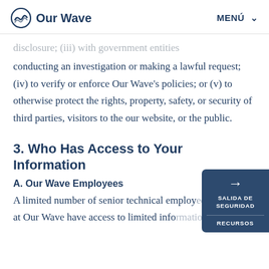Our Wave   MENÚ
…disclosure; (iii) with government entities conducting an investigation or making a lawful request; (iv) to verify or enforce Our Wave's policies; or (v) to otherwise protect the rights, property, safety, or security of third parties, visitors to the our website, or the public.
3. Who Has Access to Your Information
A. Our Wave Employees
A limited number of senior technical employees at Our Wave have access to limited information